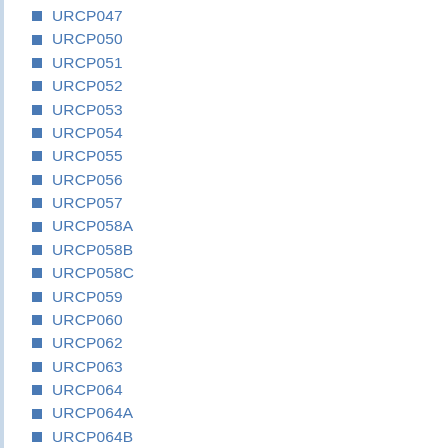URCP047
URCP050
URCP051
URCP052
URCP053
URCP054
URCP055
URCP056
URCP057
URCP058A
URCP058B
URCP058C
URCP059
URCP060
URCP062
URCP063
URCP064
URCP064A
URCP064B
URCP064C
URCP064D
URCP064E
URCP064F
URCP065A
URCP065C
URCP066
URCP06?